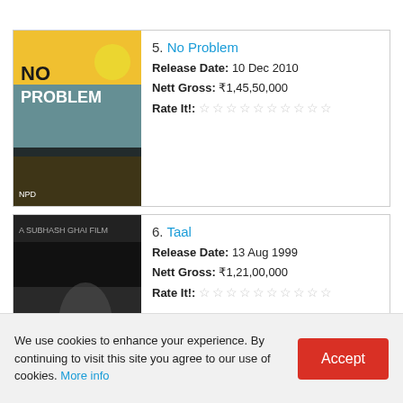5. No Problem | Release Date: 10 Dec 2010 | Nett Gross: ₹1,45,50,000 | Rate It!: ☆☆☆☆☆☆☆☆☆☆
6. Taal | Release Date: 13 Aug 1999 | Nett Gross: ₹1,21,00,000 | Rate It!: ☆☆☆☆☆☆☆☆☆☆
7. Mere Baap Pehle Aap | Release Date: 13 Jun 2008 | Nett Gross: ₹1,40,50,000
We use cookies to enhance your experience. By continuing to visit this site you agree to our use of cookies. More info